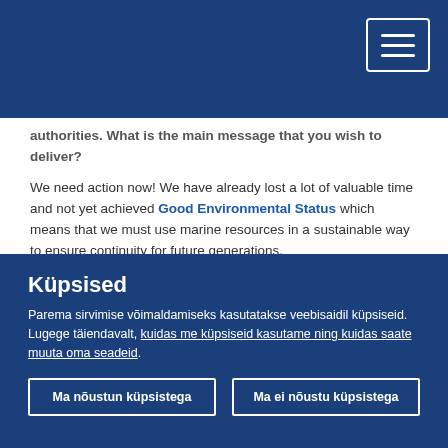authorities. What is the main message that you wish to deliver?
We need action now! We have already lost a lot of valuable time and not yet achieved Good Environmental Status which means that we must use marine resources in a sustainable way to ensure continuity for future generations.
Across the EU, subnational governments hold competencies in key areas that affect the marine environment. In municipalities and regions, we decide about transport, tourism, wastewater and storm water management, and many other areas such as waste management, urban and rural planning
Küpsised
Parema sirvimise võimaldamiseks kasutatakse veebisaidil küpsiseid. Lugege täiendavalt, kuidas me küpsiseid kasutame ning kuidas saate muuta oma seadeid.
Ma nõustun küpsistega
Ma ei nõustu küpsistega